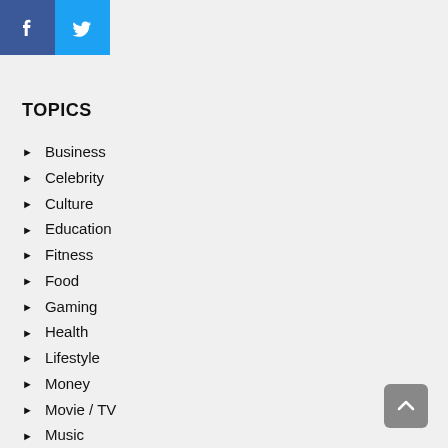[Figure (logo): Facebook and Twitter social media icons at the top left]
TOPICS
Business
Celebrity
Culture
Education
Fitness
Food
Gaming
Health
Lifestyle
Money
Movie / TV
Music
News
People
Politics
Sports
Travel